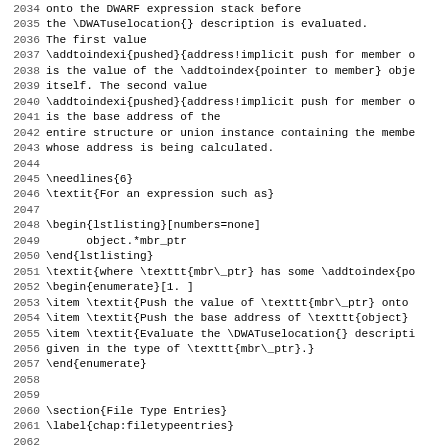Source code listing lines 2034-2066 of a LaTeX document about DWARF debugging format, covering pointer-to-member address calculation and File Type Entries section.